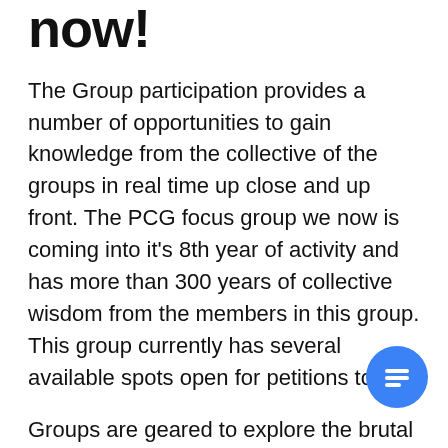now!
The Group participation provides a number of opportunities to gain knowledge from the collective of the groups in real time up close and up front. The PCG focus group we now is coming into it's 8th year of activity and has more than 300 years of collective wisdom from the members in this group. This group currently has several available spots open for petitions to join.
Groups are geared to explore the brutal honesty of what you may be doing right, or wrong in the eyes of the collective.
Groups are limited to no more than 15 (store or company) members – This is to keep the group tight and not overly burdened with too much participation.